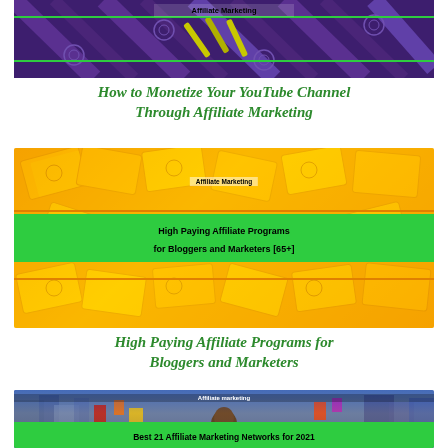[Figure (photo): Affiliate Marketing thumbnail image with purple/dark background and decorative pattern, with green line and 'Affiliate Marketing' label]
How to Monetize Your YouTube Channel Through Affiliate Marketing
[Figure (photo): Affiliate Marketing thumbnail with orange money bills background, green banner reading 'High Paying Affiliate Programs for Bloggers and Marketers [65+]']
High Paying Affiliate Programs for Bloggers and Marketers
[Figure (photo): Affiliate marketing thumbnail with blurred city street background, green banner reading 'Best 21 Affiliate Marketing Networks for 2021']